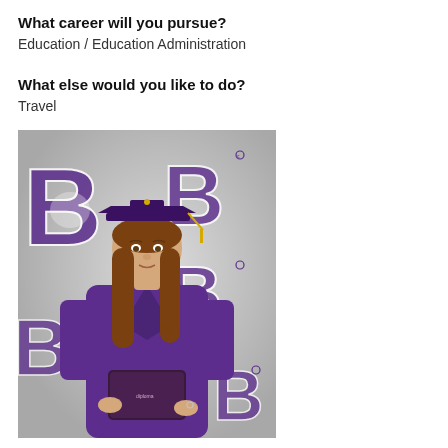What career will you pursue?
Education / Education Administration
What else would you like to do?
Travel
[Figure (photo): A young woman in purple graduation cap and gown holding a diploma, standing in front of a backdrop with purple 'B' Bulldog school logos]